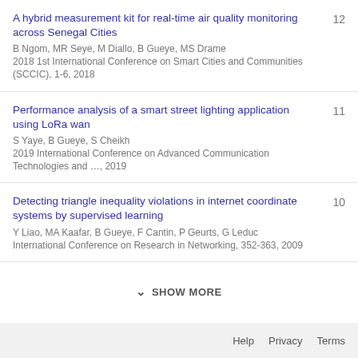A hybrid measurement kit for real-time air quality monitoring across Senegal Cities
Performance analysis of a smart street lighting application using LoRa wan
Detecting triangle inequality violations in internet coordinate systems by supervised learning
SHOW MORE
Help   Privacy   Terms